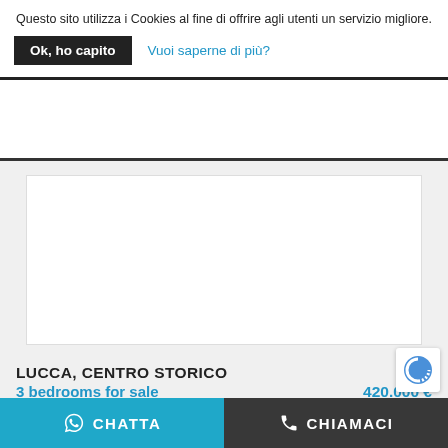Questo sito utilizza i Cookies al fine di offrire agli utenti un servizio migliore.
Ok, ho capito
Vuoi saperne di più?
[Figure (screenshot): White content area placeholder on gray background]
LUCCA, CENTRO STORICO
3 bedrooms for sale	420.000 €
RIF. 3408 - Having a property overlooking the ancient amphitheater in the center of Lucca would already be a good reason to consider this apartment. B...
CHATTA   CHIAMACI